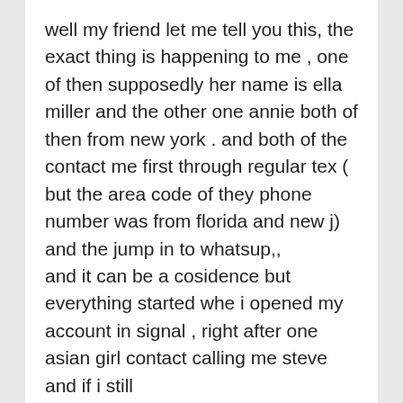well my friend let me tell you this, the exact thing is happening to me , one of then supposedly her name is ella miller and the other one annie both of then from new york . and both of the contact me first through regular tex ( but the area code of they phone number was from florida and new j) and the jump in to whatsup,, and it can be a cosidence but everything started whe i opened my account in signal , right after one asian girl contact calling me steve and if i still